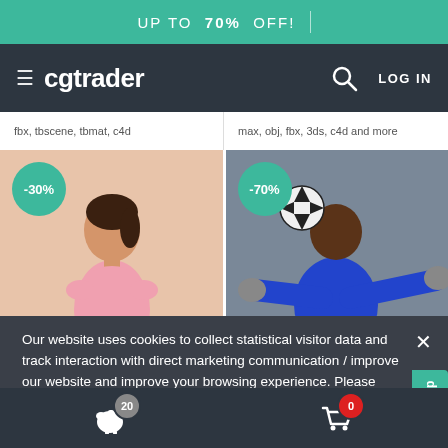UP TO 70% OFF!
[Figure (screenshot): CGTrader website navigation bar with hamburger menu, logo 'cgtrader', search icon, and LOG IN button on dark background]
fbx, tbscene, tbmat, c4d
max, obj, fbx, 3ds, c4d and more
[Figure (photo): 3D model of a woman in pink athletic wear against beige background, with -30% discount badge]
[Figure (photo): 3D model of a man in blue soccer/goalkeeper outfit diving, with -70% discount badge]
Our website uses cookies to collect statistical visitor data and track interaction with direct marketing communication / improve our website and improve your browsing experience. Please see our Cookie Notice for more information about cookies, data they collect, who may access them, and your rights. Learn more
Accept
20  0